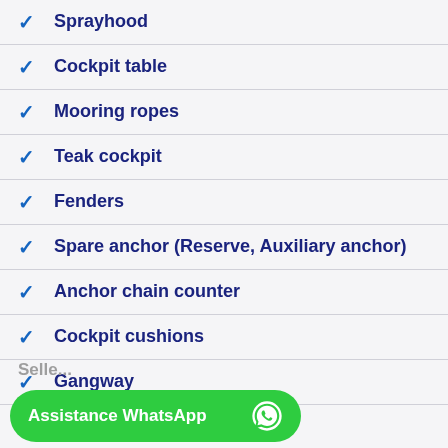✓ Sprayhood
✓ Cockpit table
✓ Mooring ropes
✓ Teak cockpit
✓ Fenders
✓ Spare anchor (Reserve, Auxiliary anchor)
✓ Anchor chain counter
✓ Cockpit cushions
✓ Gangway
✓ Sun tent
Seller
Assistance WhatsApp